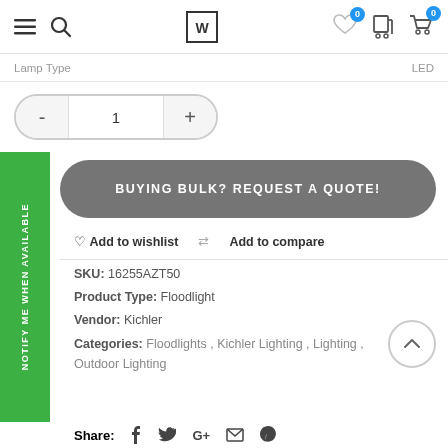Navigation bar with menu, search, brand logo, wishlist (0), cart, and cart (0) icons
| Lamp Type | LED |
| --- | --- |
| Lamp Type | LED |
- 1 +
NOTIFY ME WHEN AVAILABLE
BUYING BULK? REQUEST A QUOTE!
Add to wishlist   Add to compare
SKU: 16255AZT50
Product Type: Floodlight
Vendor: Kichler
Categories: Floodlights , Kichler Lighting , Lighting , Outdoor Lighting
Share: f  G+  mail  pinterest